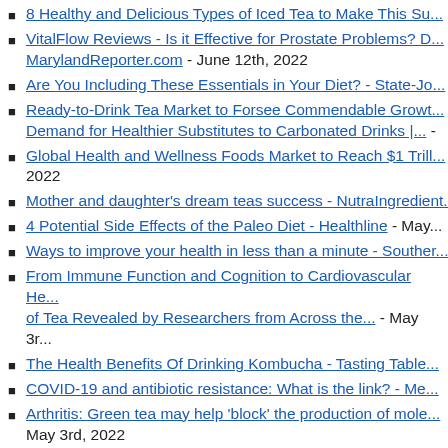8 Healthy and Delicious Types of Iced Tea to Make This Su...
VitalFlow Reviews - Is it Effective for Prostate Problems? D... MarylandReporter.com - June 12th, 2022
Are You Including These Essentials in Your Diet? - State-Jo...
Ready-to-Drink Tea Market to Forsee Commendable Growt... Demand for Healthier Substitutes to Carbonated Drinks |... -
Global Health and Wellness Foods Market to Reach $1 Trill... 2022
Mother and daughter's dream teas success - NutraIngredient...
4 Potential Side Effects of the Paleo Diet - Healthline - May...
Ways to improve your health in less than a minute - Souther...
From Immune Function and Cognition to Cardiovascular He... of Tea Revealed by Researchers from Across the... - May 3r...
The Health Benefits Of Drinking Kombucha - Tasting Table...
COVID-19 and antibiotic resistance: What is the link? - Me...
Arthritis: Green tea may help 'block' the production of mole... May 3rd, 2022
10 Delicious Smoothie Ingredients Dietitians Say Will Boos...